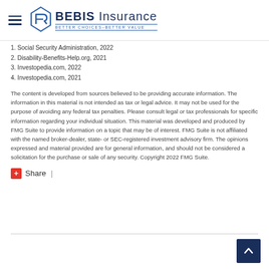BEBIS Insurance — BETTER CHOICES–BETTER VALUE
1. Social Security Administration, 2022
2. Disability-Benefits-Help.org, 2021
3. Investopedia.com, 2022
4. Investopedia.com, 2021
The content is developed from sources believed to be providing accurate information. The information in this material is not intended as tax or legal advice. It may not be used for the purpose of avoiding any federal tax penalties. Please consult legal or tax professionals for specific information regarding your individual situation. This material was developed and produced by FMG Suite to provide information on a topic that may be of interest. FMG Suite is not affiliated with the named broker-dealer, state- or SEC-registered investment advisory firm. The opinions expressed and material provided are for general information, and should not be considered a solicitation for the purchase or sale of any security. Copyright 2022 FMG Suite.
Share |